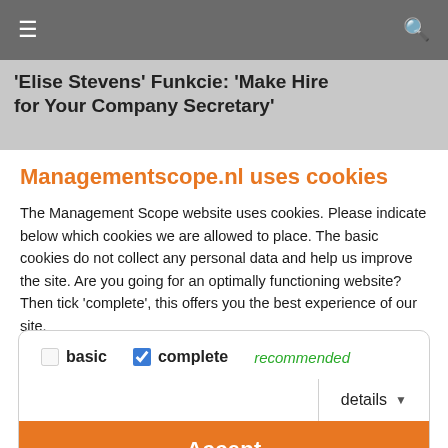≡  🔍
'Elise Stevens' Funkcie: 'Make Hire for Your Company Secretary'
Managementscope.nl uses cookies
The Management Scope website uses cookies. Please indicate below which cookies we are allowed to place. The basic cookies do not collect any personal data and help us improve the site. Are you going for an optimally functioning website? Then tick 'complete', this offers you the best experience of our site.
basic  complete  recommended
details ▼
Accept